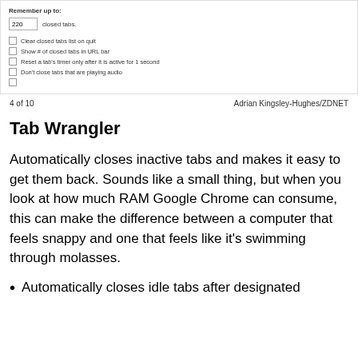[Figure (screenshot): Screenshot of a browser extension settings panel showing 'Remember up to: 220 closed tabs.' with checkboxes for: Clear closed tabs list on quit, Show # of closed tabs in URL bar, Reset a tab's timer only after it is active for 1 second, Don't close tabs that are playing audio]
4 of 10    Adrian Kingsley-Hughes/ZDNET
Tab Wrangler
Automatically closes inactive tabs and makes it easy to get them back. Sounds like a small thing, but when you look at how much RAM Google Chrome can consume, this can make the difference between a computer that feels snappy and one that feels like it's swimming through molasses.
Automatically closes idle tabs after designated